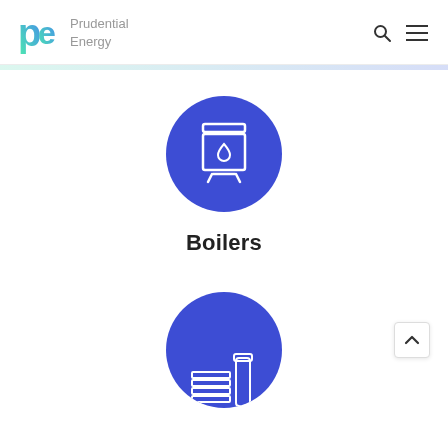Prudential Energy
[Figure (illustration): Blue circle with white boiler/water heater icon]
Boilers
[Figure (illustration): Blue circle with white industrial equipment icon (partially visible, cropped at bottom)]